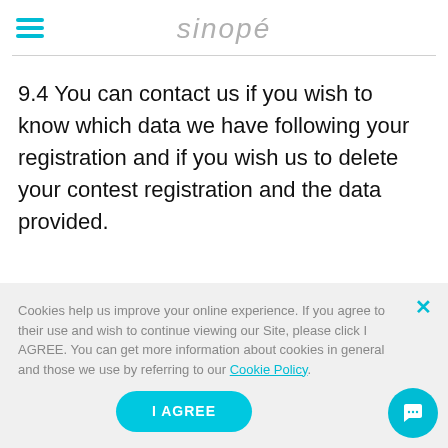sinopé
9.4 You can contact us if you wish to know which data we have following your registration and if you wish us to delete your contest registration and the data provided.
Cookies help us improve your online experience. If you agree to their use and wish to continue viewing our Site, please click I AGREE. You can get more information about cookies in general and those we use by referring to our Cookie Policy.
I AGREE